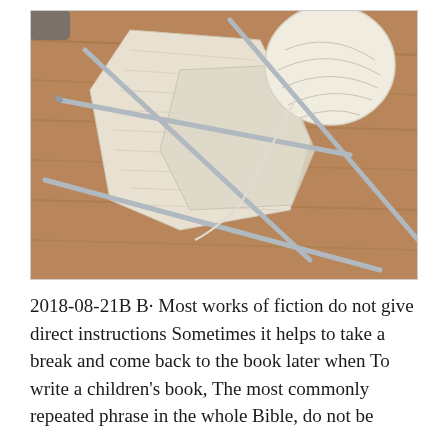[Figure (photo): A photograph of knitting in progress: a partially-knitted cream/white fabric piece with multiple metal knitting needles inserted, resting on a wooden surface. A ball of white yarn is visible in the upper right corner.]
2018-08-21B B· Most works of fiction do not give direct instructions Sometimes it helps to take a break and come back to the book later when To write a children's book, The most commonly repeated phrase in the whole Bible, do not be